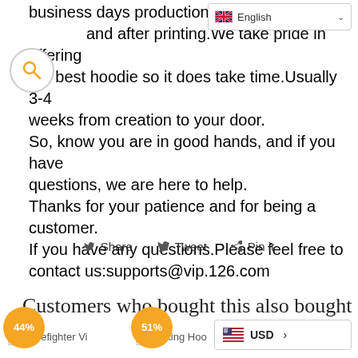[Figure (screenshot): Language selector dropdown showing English with UK flag]
[Figure (screenshot): Search magnifying glass icon circle]
business days production time and after printing.We take pride in offering the best hoodie so it does take time.Usually 3-4 weeks from creation to your door.
So, know you are in good hands, and if you have questions, we are here to help.
Thanks for your patience and for being a customer.
If you have any questions.Please feel free to contact us:supports@vip.126.com
Share   Tweet   Pin it
Customers who bought this also bought
Firefighter Vi... 44%   Viking Hoo... 51%   VIP...
[Figure (screenshot): USD currency selector with US flag showing USD >]